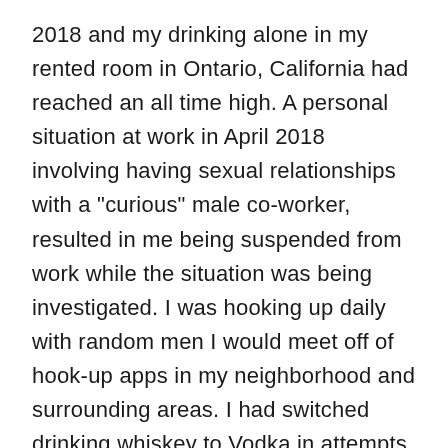2018 and my drinking alone in my rented room in Ontario, California had reached an all time high. A personal situation at work in April 2018 involving having sexual relationships with a "curious" male co-worker, resulted in me being suspended from work while the situation was being investigated. I was hooking up daily with random men I would meet off of hook-up apps in my neighborhood and surrounding areas. I had switched drinking whiskey to Vodka in attempts to control my alcoholism as i had become immune to Jack Daniels brand whiskey and could drink a 750 ml bottle like it was a bottle of water. I thought I'd slow down on vodka but found myself consuming literally a gallon of vodka through the day, every day. Out of control would be an understatement in regards to my drinking. I was to the point where I was throwing up blood, my eyes were yellowing, my nail beds were deteriorating, and I couldn't produce